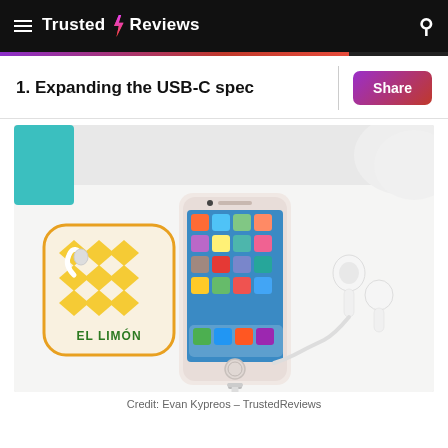Trusted Reviews
1. Expanding the USB-C spec
[Figure (photo): An iPhone (rose gold) lying on a white surface connected to a Lightning cable, with AirPods nearby and a yellow/white decorative card reading 'EL LIMON' on the left.]
Credit: Evan Kypreos – TrustedReviews